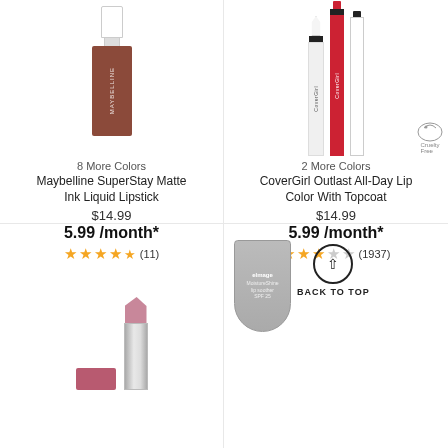[Figure (photo): Maybelline SuperStay Matte Ink Liquid Lipstick product image showing a brownish-red liquid lipstick tube]
[Figure (photo): CoverGirl Outlast All-Day Lip Color With Topcoat product showing three applicator sticks in white, red, and clear with a cruelty-free badge]
8 More Colors
2 More Colors
Maybelline SuperStay Matte Ink Liquid Lipstick
CoverGirl Outlast All-Day Lip Color With Topcoat
$14.99
$14.99
5.99 /month*
5.99 /month*
★★★★½ (11)
★★★☆☆ (1937)
[Figure (photo): Pink/mauve lipstick bullet with silver tube and pink lipstick case]
[Figure (photo): Silver metallic squeeze tube of lip gloss/soother with back-to-top button]